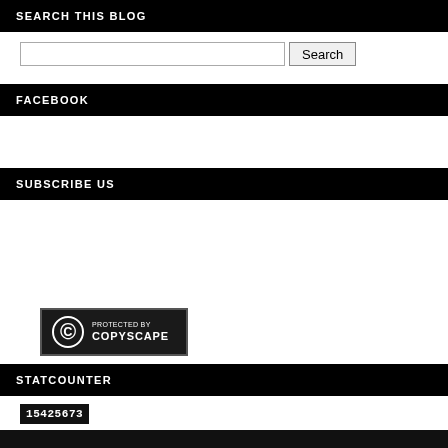SEARCH THIS BLOG
[Figure (other): Search input box and Search button]
FACEBOOK
SUBSCRIBE US
[Figure (logo): Protected by Copyscape badge with copyright circle symbol]
STATCOUNTER
15425673